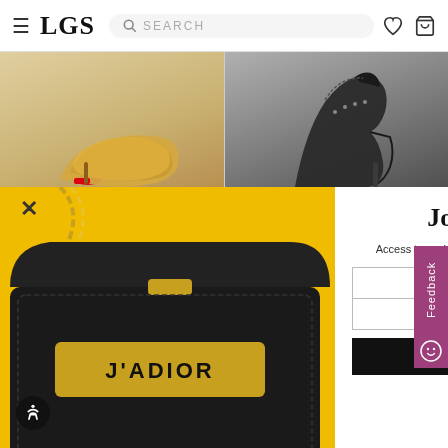LGS  SEARCH
[Figure (screenshot): Screenshot of LGS luxury goods website with navigation bar showing hamburger menu, LGS logo, search bar, heart icon, and bag icon at the top. Below are two shoe product images: left is a glittery gold/bronze open-toe stiletto heel, right is a dark/black high-heeled boot.]
[Figure (photo): Left half of popup modal showing a yellow background with a black J'ADIOR Dior handbag with gold chain and gold logo plate.]
Join the Luxe List
Access to exclusive discounts, special events and new arrivals
Enter Your Email
Enter Your Phone Number (optional)
SUBSCRIBE NOW
No Thanks
Feedback